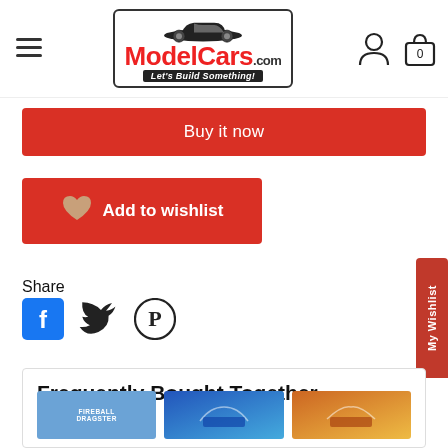[Figure (logo): ModelCars.com logo with a classic muscle car illustration above the text, red brand name, banner reading Let's Build Something!]
Buy it now
Add to wishlist
Share
[Figure (illustration): Social share icons: Facebook, Twitter, Pinterest]
My Wishlist
Frequently Bought Together
[Figure (illustration): Three product thumbnails at the bottom: Fireball Dragster (blue label), and two other model car products]